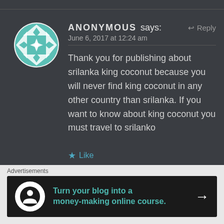[Figure (illustration): Circular avatar with teal and white geometric/quilt pattern design]
ANONYMOUS says:
↩ Reply
June 6, 2017 at 12:24 am
Thank you for publishing about srilanka king coconut because you will never find king coconut in any other country than srilanka. If you want to know about king coconut you must travel to srilanko
★ Like
Advertisements
[Figure (screenshot): Advertisement banner: dark background with circular logo and text 'Turn your blog into a money-making online course.' with arrow]